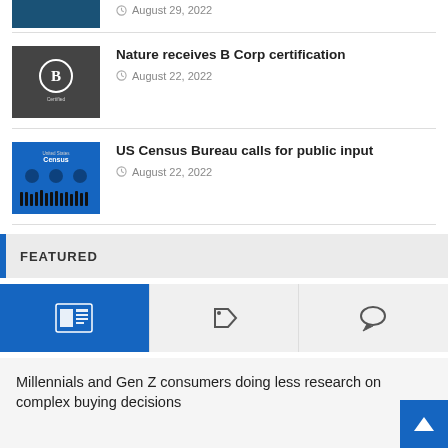[Figure (photo): Blue rectangle image thumbnail (partially cropped at top)]
August 29, 2022
[Figure (photo): Black and white photo with B Corp certification circle logo overlay]
Nature receives B Corp certification
August 22, 2022
[Figure (photo): US Census Bureau blue image with icons and silhouette people]
US Census Bureau calls for public input
August 22, 2022
FEATURED
[Figure (other): Tab bar with three icons: newspaper/list icon (active, blue background), tag icon, and speech bubble icon]
Millennials and Gen Z consumers doing less research on complex buying decisions